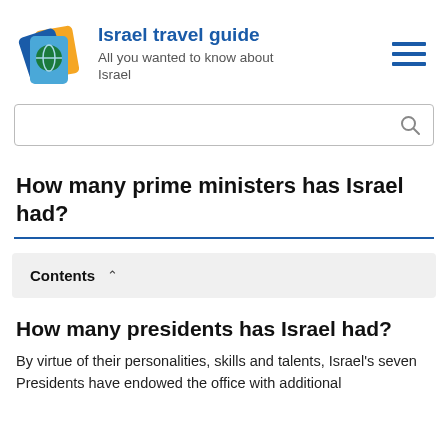Israel travel guide — All you wanted to know about Israel
How many prime ministers has Israel had?
Contents
How many presidents has Israel had?
By virtue of their personalities, skills and talents, Israel's seven Presidents have endowed the office with additional